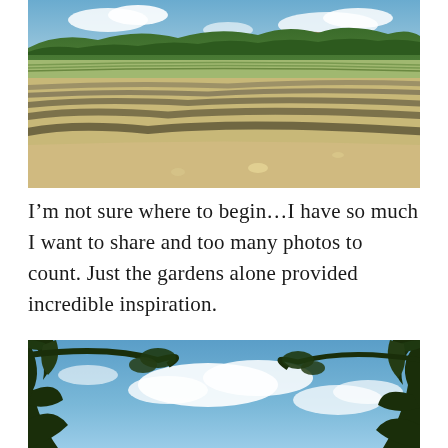[Figure (photo): Landscape photo of lavender fields with rows of lavender bushes in dry terrain, with green trees and rocky hills in the background under a partly cloudy blue sky.]
I’m not sure where to begin…I have so much I want to share and too many photos to count. Just the gardens alone provided incredible inspiration.
[Figure (photo): Upward-looking photo through leafy green tree branches against a bright blue sky with white clouds.]